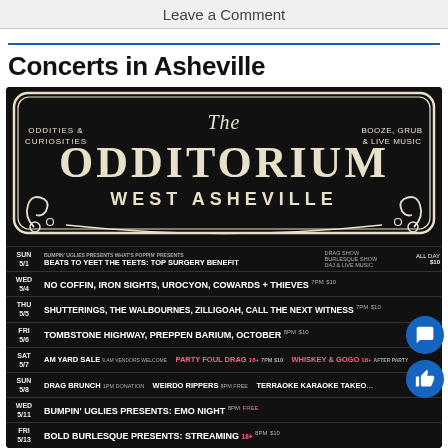Leave a Comment
Concerts in Asheville
[Figure (illustration): The Odditorium West Asheville venue poster with dark background and ornate lettering. Subtitled 'Oddities & Curiosities' and 'Booze, Grub & Live Music'. Below the logo is a schedule table listing upcoming events.]
SUN 5/1 - BEATS TO YEET THE TEETS: TOP SURGERY BENEFIT - DRAG SHOW, BURLESQUE SHOW, DAJ & LIVE MUSIC - ALL DAY $10
WED 5/4 - NO COFFIN, IRON SIGHTS, UROCYON, COWARDS + THIEVES - 7PM $10
THU 5/5 - SHUTTERINGS, THE WALBOURNES, ZILLIGOAN, CALL THE NEXT WITNESS - 7PM $10
FRI 5/6 - TOMBSTONE HIGHWAY, PREPPEN BARIUM, OCTOBER - 8PM $10
SAT 5/7 - AM YARD SALE | PARTY FOUL DRAG 18+ 7PM $10 | WHISKEY & GOGO 18+ AFTER PARTY
SUN 5/8 - DRAG BRUNCH 1PM DONATION | WEIRDO RIPPERS 8PM FREE | TERRAOKE KARAOKE TAKEOVER
WED 5/11 - BUMPIN' UGLIES PRESENTS: EMO NIGHT 8PM FREE
FRI 5/13 - BOLD BURLESQUE PRESENTS: STREAMING 18+ 8PM $10